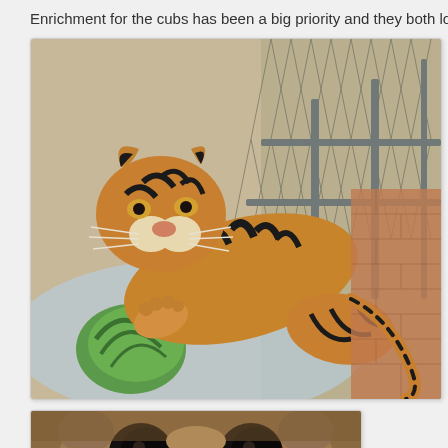Enrichment for the cubs has been a big priority and they both love to destroy wa
[Figure (photo): A tiger cub lying in an enclosure with chain-link fencing, pawing at a watermelon on a blue surface. The cub has distinctive black and orange stripes and is photographed from above.]
[Figure (photo): Close-up of a small animal's face (possibly a cub or small exotic cat) with very large dark eyes, filling the bottom portion of the page.]